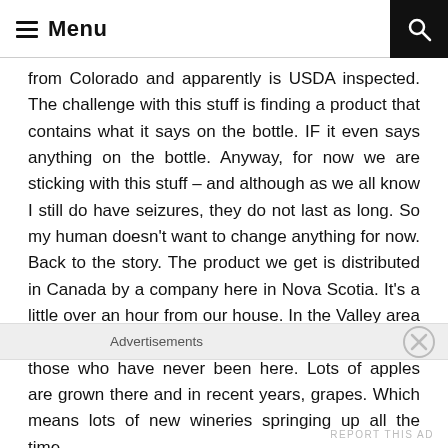Menu
from Colorado and apparently is USDA inspected.  The challenge with this stuff is finding a product that contains what it says on the bottle.  IF it even says anything on the bottle.  Anyway, for now we are sticking with this stuff – and although as we all know I still do have seizures, they do not last as long.  So my human doesn't want to change anything for now.  Back to the story.  The product we get is distributed in Canada by a company here in Nova Scotia.  It's a little over an hour from our house.  In the Valley area of the province – which is our agricultural area for those who have never been here.  Lots of apples are grown there and in recent years, grapes.  Which means lots of new wineries springing up all the time.
Advertisements
REPORT THIS AD